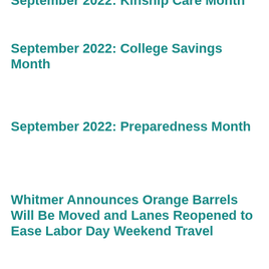September 2022: Kinship Care Month
September 2022: College Savings Month
September 2022: Preparedness Month
Whitmer Announces Orange Barrels Will Be Moved and Lanes Reopened to Ease Labor Day Weekend Travel